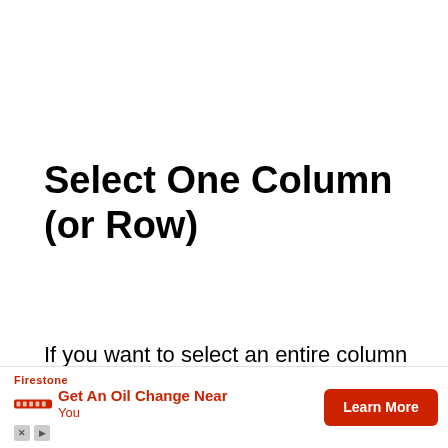Select One Column (or Row)
If you want to select an entire column (say column D), hover the cursor over the column headers (where it says D). You will notice that the cursor changes to a black downward-poi...
[Figure (other): Advertisement banner for Firestone oil change: 'Get An Oil Change Near You' with a red 'Learn More' button.]